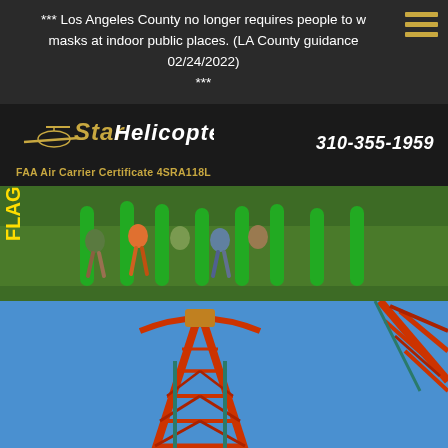*** Los Angeles County no longer requires people to w masks at indoor public places. (LA County guidance 02/24/2022) ***
[Figure (logo): Star Helicopters logo with stylized text and helicopter silhouette, FAA Air Carrier Certificate 4SRA118L, phone number 310-355-1959]
[Figure (photo): Amusement park ride showing people seated on a green roller coaster / ride with Six Flags branding visible]
[Figure (photo): Outdoor roller coaster with red and teal metal structure against a blue sky, riders visible at top]